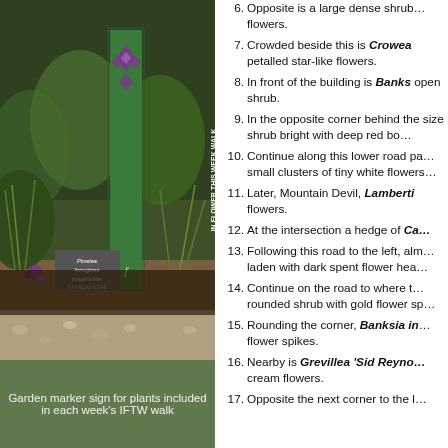[Figure (photo): Garden marker sign for plants included in the In Flower This Week walk, showing a green vertical sign with purple flower design in a garden setting with Pimelea ferruginea label visible]
Garden marker sign for plants included in each week's IFTW walk
6. Opposite is a large dense shrub... flowers.
7. Crowded beside this is Crowea... petalled star-like flowers.
8. In front of the building is Banks... open shrub.
9. In the opposite corner behind the... size shrub bright with deep red bo...
10. Continue along this lower road pa... small clusters of tiny white flowers...
11. Later, Mountain Devil, Lamberti... flowers.
12. At the intersection a hedge of Ca...
13. Following this road to the left, alm... laden with dark spent flower hea...
14. Continue on the road to where t... rounded shrub with gold flower sp...
15. Rounding the corner, Banksia in... flower spikes.
16. Nearby is Grevillea 'Sid Reyno... cream flowers.
17. Opposite the next corner to the l...